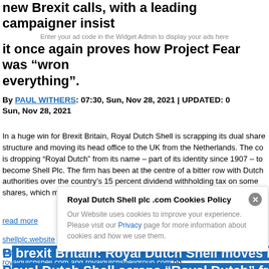new Brexit calls, with a leading campaigner insisting it once again proves how Project Fear was "wrong about everything".
Enter your ad code in the Widget Admin to display your ads here
By PAUL WITHERS: 07:30, Sun, Nov 28, 2021 | UPDATED: 0 Sun, Nov 28, 2021
In a huge win for Brexit Britain, Royal Dutch Shell is scrapping its dual share structure and moving its head office to the UK from the Netherlands. The company is dropping “Royal Dutch” from its name – part of its identity since 1907 – to become Shell Plc. The firm has been at the centre of a bitter row with Dutch authorities over the country’s 15 percent dividend withholding tax on some shares, which makes them less attractive for investors.
read more
shellplc.website and its sister non-profit websites royaldutchshellplc.com
Royal Dutch Shell plc .com Cookies Policy
Our Website uses cookies to improve your experience. Please visit our Privacy page for more information about cookies and how we use them.